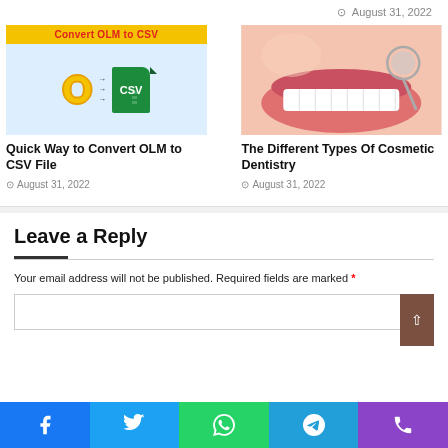August 31, 2022
[Figure (illustration): Convert OLM to CSV graphic showing yellow O letter with arrows pointing to green CSV file icon]
[Figure (photo): Close-up photo of a person smiling showing white teeth with a dental mirror instrument]
Quick Way to Convert OLM to CSV File
August 31, 2022
The Different Types Of Cosmetic Dentistry
August 31, 2022
Leave a Reply
Your email address will not be published. Required fields are marked *